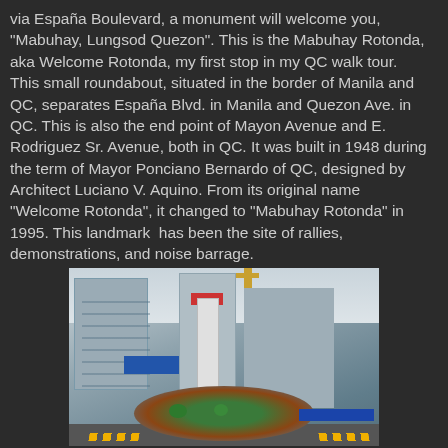via España Boulevard, a monument will welcome you, "Mabuhay, Lungsod Quezon". This is the Mabuhay Rotonda, aka Welcome Rotonda, my first stop in my QC walk tour. This small roundabout, situated in the border of Manila and QC, separates España Blvd. in Manila and Quezon Ave. in QC. This is also the end point of Mayon Avenue and E. Rodriguez Sr. Avenue, both in QC. It was built in 1948 during the term of Mayor Ponciano Bernardo of QC, designed by Architect Luciano V. Aquino. From its original name "Welcome Rotonda", it changed to "Mabuhay Rotonda" in 1995. This landmark  has been the site of rallies, demonstrations, and noise barrage.
[Figure (photo): Photograph of the Mabuhay Rotonda (Welcome Rotonda) showing a tall white monument tower in the center of a circular roundabout with red brick borders and green shrubbery. Office buildings and a crane are visible in the background. Blue barriers and road markings surround the roundabout.]